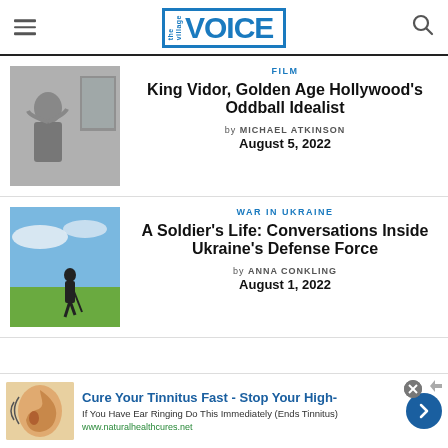the village VOICE
[Figure (photo): Black and white photo of a woman, classic Hollywood style]
FILM
King Vidor, Golden Age Hollywood's Oddball Idealist
by MICHAEL ATKINSON
August 5, 2022
[Figure (photo): Color photo of a soldier silhouette standing in a field under a blue sky]
WAR IN UKRAINE
A Soldier's Life: Conversations Inside Ukraine's Defense Force
by ANNA CONKLING
August 1, 2022
Cure Your Tinnitus Fast - Stop Your High-
If You Have Ear Ringing Do This Immediately (Ends Tinnitus)
www.naturalhealthcures.net